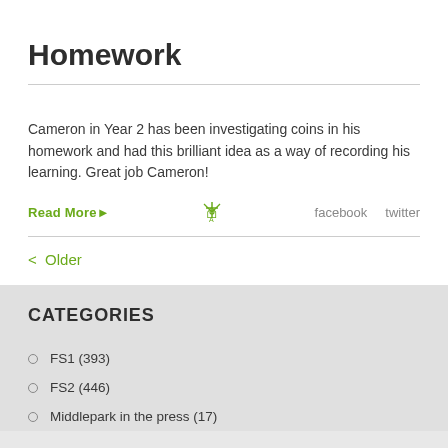Homework
Cameron in Year 2 has been investigating coins in his homework and had this brilliant idea as a way of recording his learning. Great job Cameron!
Read More▶   facebook   twitter
< Older
CATEGORIES
FS1 (393)
FS2 (446)
Middlepark in the press (17)